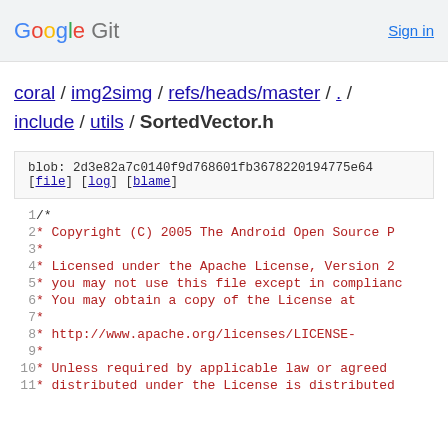Google Git   Sign in
coral / img2simg / refs/heads/master / . / include / utils / SortedVector.h
blob: 2d3e82a7c0140f9d768601fb3678220194775e64
[file] [log] [blame]
1  /*
2   * Copyright (C) 2005 The Android Open Source P
3   *
4   * Licensed under the Apache License, Version 2
5   * you may not use this file except in complianc
6   * You may obtain a copy of the License at
7   *
8   *      http://www.apache.org/licenses/LICENSE-
9   *
10  * Unless required by applicable law or agreed
11  * distributed under the License is distributed